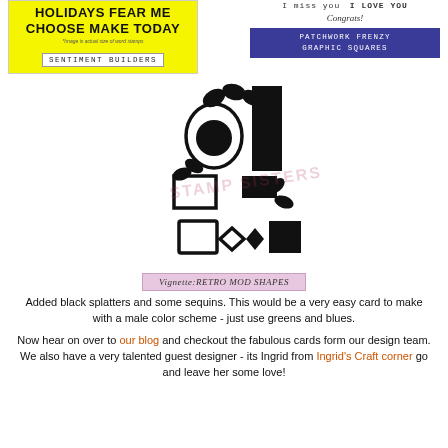[Figure (illustration): Two product images side by side: left shows yellow box with bold black text 'HOLIDAYS FEAR ME CHOOSE MAKE TODAY' and label 'SENTIMENT BUILDERS'; right shows stamp product with text 'I miss you I LOVE YOU Congrats!' and blue label 'PATCHWORK FRENZY GRAPHIC SQUARES']
[Figure (illustration): Stamp set image showing retro mod shapes in black and white including apple, circle, rectangles, squares, diamond shapes, with pink watermark text 'STAMP SISTERS' across middle, and pink label below reading 'Vignette:RETRO MOD SHAPES']
Added black splatters and some sequins. This would be a very easy card to make with a male color scheme - just use greens and blues.
Now hear on over to our blog and checkout the fabulous cards form our design team. We also have a very talented guest designer - its Ingrid from Ingrid's Craft corner go and leave her some love!